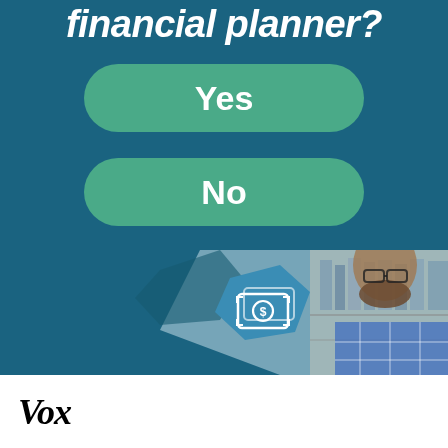financial planner?
Yes
No
[Figure (infographic): A dark teal infographic panel showing Yes/No answer buttons with a hexagon money icon and a photo of a bearded man in a plaid shirt working at a computer, with bookshelves in the background.]
Vox